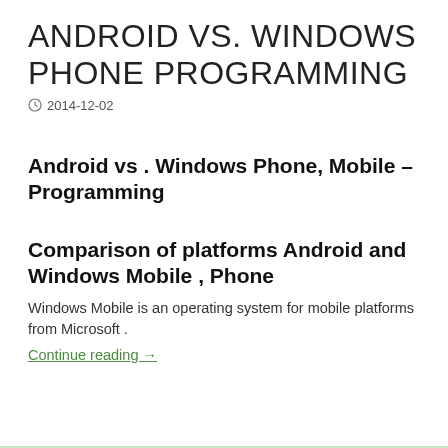ANDROID VS. WINDOWS PHONE PROGRAMMING
2014-12-02
Android vs . Windows Phone, Mobile – Programming
Comparison of platforms Android and Windows Mobile , Phone
Windows Mobile is an operating system for mobile platforms from Microsoft .
Continue reading →